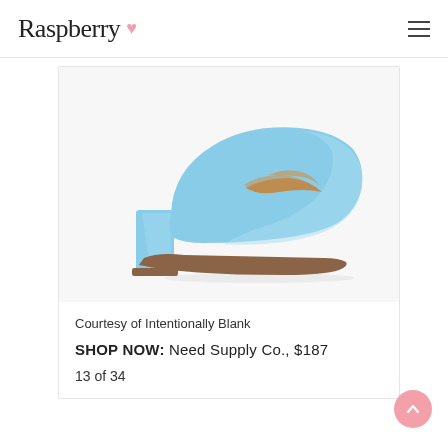Raspberry ♥
[Figure (photo): A light blue leather block-heel pump shoe shown in profile against a white/light grey background. The shoe has a chunky square heel and rounded toe. The insole appears in a tan/caramel color.]
Courtesy of Intentionally Blank
SHOP NOW: Need Supply Co., $187
13 of 34